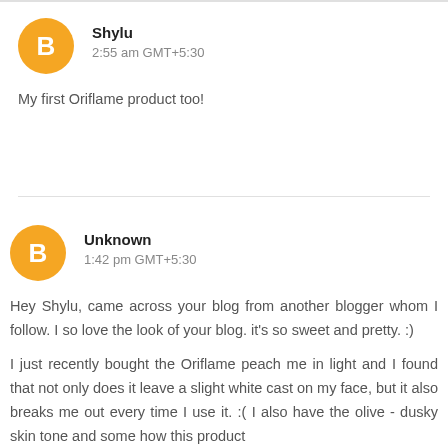Shylu
2:55 am GMT+5:30
My first Oriflame product too!
Unknown
1:42 pm GMT+5:30
Hey Shylu, came across your blog from another blogger whom I follow. I so love the look of your blog. it's so sweet and pretty. :)

I just recently bought the Oriflame peach me in light and I found that not only does it leave a slight white cast on my face, but it also breaks me out every time I use it. :( I also have the olive - dusky skin tone and some how this product